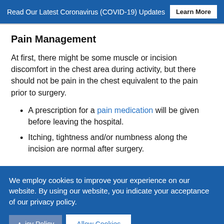Read Our Latest Coronavirus (COVID-19) Updates  Learn More
Pain Management
At first, there might be some muscle or incision discomfort in the chest area during activity, but there should not be pain in the chest equivalent to the pain prior to surgery.
A prescription for a pain medication will be given before leaving the hospital.
Itching, tightness and/or numbness along the incision are normal after surgery.
We employ cookies to improve your experience on our website. By using our website, you indicate your acceptance of our privacy policy.